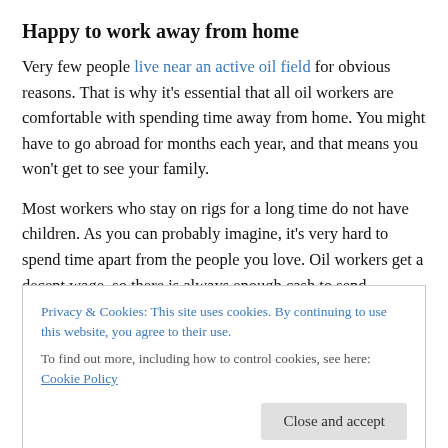Happy to work away from home
Very few people live near an active oil field for obvious reasons. That is why it’s essential that all oil workers are comfortable with spending time away from home. You might have to go abroad for months each year, and that means you won’t get to see your family.
Most workers who stay on rigs for a long time do not have children. As you can probably imagine, it’s very hard to spend time apart from the people you love. Oil workers get a decent wage, so there is always enough cash to send
Privacy & Cookies: This site uses cookies. By continuing to use this website, you agree to their use.
To find out more, including how to control cookies, see here: Cookie Policy
You will encounter situations in which it is vital that you